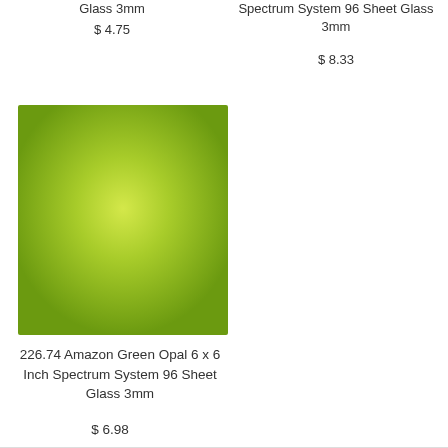Glass 3mm
$ 4.75
Spectrum System 96 Sheet Glass 3mm
$ 8.33
[Figure (photo): Square sheet of Amazon Green Opal glass with a gradient green color, lighter in the center and darker around edges]
226.74 Amazon Green Opal 6 x 6 Inch Spectrum System 96 Sheet Glass 3mm
$ 6.98